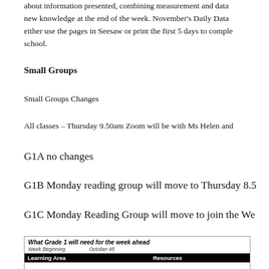about information presented, combining measurement and data new knowledge at the end of the week. November's Daily Data either use the pages in Seesaw or print the first 5 days to complete school.
Small Groups
Small Groups Changes
All classes – Thursday 9.50am Zoom will be with Ms Helen and
G1A no changes
G1B Monday reading group will move to Thursday 8.5
G1C Monday Reading Group will move to join the We
| Learning Area | Resources |
| --- | --- |